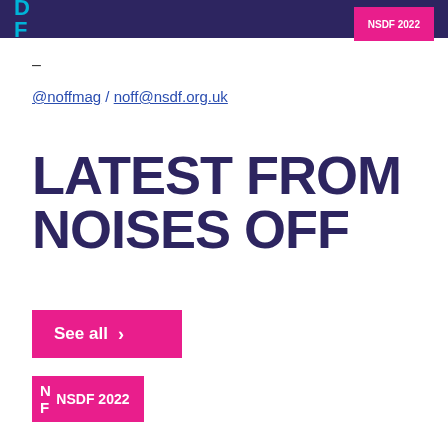DF | NSDF 2022
-
@noffmag / noff@nsdf.org.uk
LATEST FROM NOISES OFF
See all >
NSDF 2022